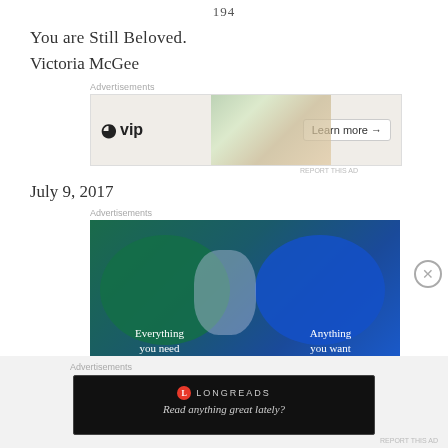194
You are Still Beloved.
Victoria McGee
[Figure (screenshot): WordPress VIP advertisement banner with collage of social media logos and 'Learn more →' button]
July 9, 2017
[Figure (illustration): Advertisement with blue/green Venn diagram showing 'Everything you need' and 'Anything you want']
[Figure (screenshot): Longreads advertisement: 'Read anything great lately?']